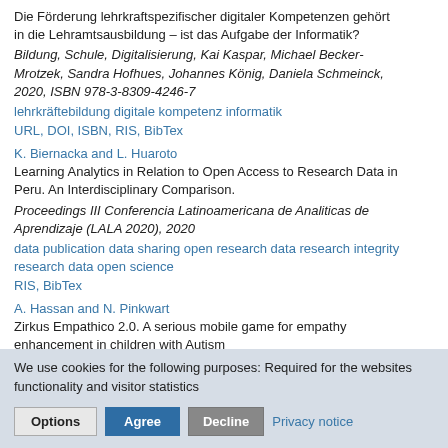Die Förderung lehrkraftspezifischer digitaler Kompetenzen gehört in die Lehramtsausbildung – ist das Aufgabe der Informatik? Bildung, Schule, Digitalisierung, Kai Kaspar, Michael Becker-Mrotzek, Sandra Hofhues, Johannes König, Daniela Schmeinck, 2020, ISBN 978-3-8309-4246-7
lehrkräftebildung digitale kompetenz informatik
URL, DOI, ISBN, RIS, BibTex
K. Biernacka and L. Huaroto
Learning Analytics in Relation to Open Access to Research Data in Peru. An Interdisciplinary Comparison.
Proceedings III Conferencia Latinoamericana de Analiticas de Aprendizaje (LALA 2020), 2020
data publication data sharing open research data research integrity research data open science
RIS, BibTex
A. Hassan and N. Pinkwart
Zirkus Empathico 2.0. A serious mobile game for empathy enhancement in children with Autism
We use cookies for the following purposes: Required for the websites functionality and visitor statistics
Options | Agree | Decline | Privacy notice